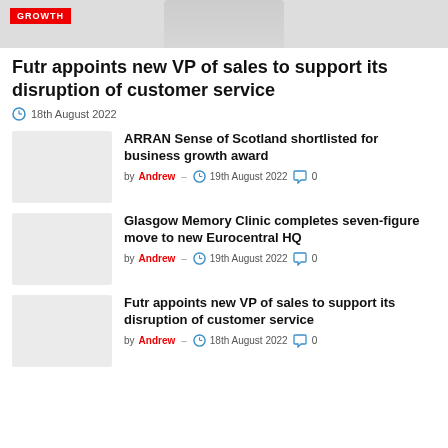[Figure (photo): Top image with GROWTH badge label on grey background]
Futr appoints new VP of sales to support its disruption of customer service
18th August 2022
ARRAN Sense of Scotland shortlisted for business growth award
by Andrew — 19th August 2022  0
Glasgow Memory Clinic completes seven-figure move to new Eurocentral HQ
by Andrew — 19th August 2022  0
Futr appoints new VP of sales to support its disruption of customer service
by Andrew — 18th August 2022  0